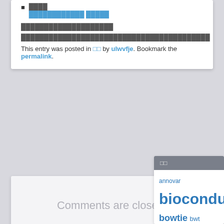■ ████ ████████████ █████
████████████████████
█████████████████████████████████████████
This entry was posted in □□ by ulwvfje. Bookmark the permalink.
Comments are closed.
□□
annovar bioconductor bowtie bwt CHIP-seq ENSEMBL